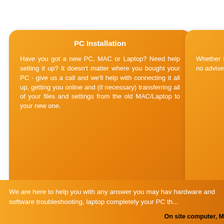[Figure (infographic): Orange rounded rectangle card titled PC Installation with white text describing PC setup help services]
[Figure (infographic): Orange rounded rectangle card partially visible at right edge titled Hard... with white text about hardware services]
We are here to help you with any answer you may have hardware and software troubleshooting, laptop completely... your PC th...
On site computer, M...